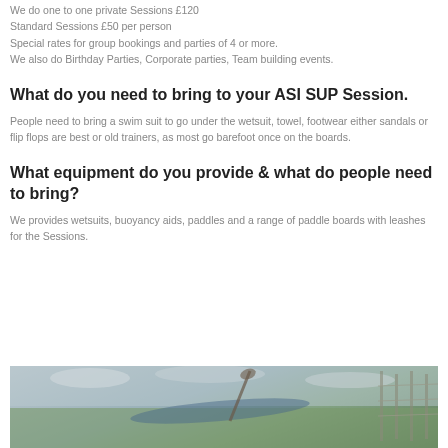We do one to one private Sessions £120
Standard Sessions £50 per person
Special rates for group bookings and parties of 4 or more.
We also do Birthday Parties, Corporate parties, Team building events.
What do you need to bring to your ASI SUP Session.
People need to bring a swim suit to go under the wetsuit, towel, footwear either sandals or flip flops are best or old trainers, as most go barefoot once on the boards.
What equipment do you provide & what do people need to bring?
We provides wetsuits, buoyancy aids, paddles and a range of paddle boards with leashes for the Sessions.
[Figure (photo): Outdoor photo showing a cloudy sky and green field with a paddle board and fence visible]